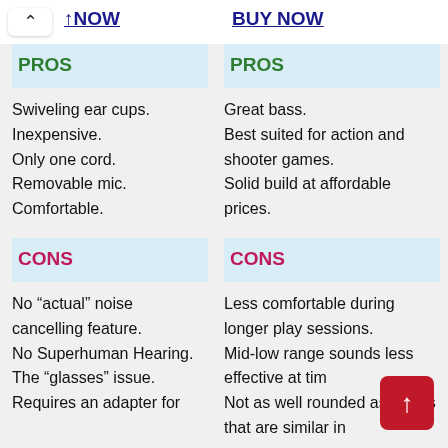↑NOW | BUY NOW
PROS
Swiveling ear cups.
Inexpensive.
Only one cord.
Removable mic.
Comfortable.
PROS
Great bass.
Best suited for action and shooter games.
Solid build at affordable prices.
CONS
No “actual” noise cancelling feature.
No Superhuman Hearing.
The “glasses” issue.
Requires an adapter for
CONS
Less comfortable during longer play sessions.
Mid-low range sounds less effective at tim
Not as well rounded as others that are similar in